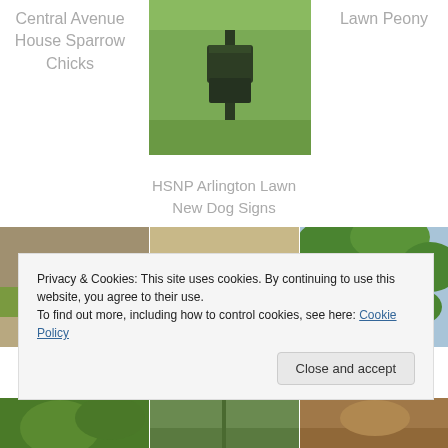Central Avenue House Sparrow Chicks
[Figure (photo): A green lawn with a dark green bird deterrent/trap device on a spike, grass in background]
Lawn Peony
HSNP Arlington Lawn New Dog Signs
[Figure (photo): A squirrel on dirt/gravel ground with green grass]
[Figure (photo): A brown butterfly (Common Buckeye) resting on a concrete ledge]
[Figure (photo): A small grey bird perched on a branch among green leaves]
Privacy & Cookies: This site uses cookies. By continuing to use this website, you agree to their use.
To find out more, including how to control cookies, see here: Cookie Policy
Close and accept
[Figure (photo): Green leaves close-up]
[Figure (photo): Plant/nature photo]
[Figure (photo): Brown/nature close-up photo]